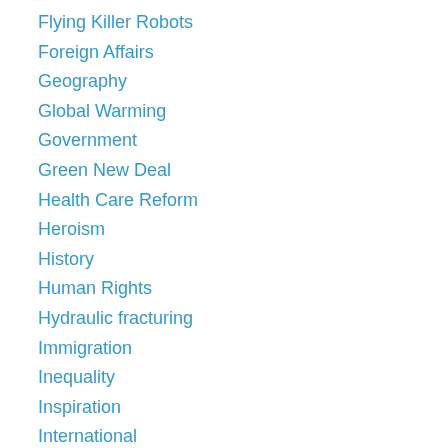Flying Killer Robots
Foreign Affairs
Geography
Global Warming
Government
Green New Deal
Health Care Reform
Heroism
History
Human Rights
Hydraulic fracturing
Immigration
Inequality
Inspiration
International
International Comparisons
Jobs
Journalism
Labor
Law and Justice